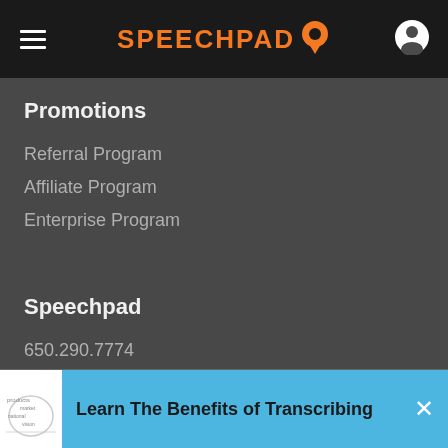SPEECHPAD
Promotions
Referral Program
Affiliate Program
Enterprise Program
Speechpad
650.290.7774
866.606.1174
sales@speechpad.com
support@speechpad.com
Learn The Benefits of Transcribing